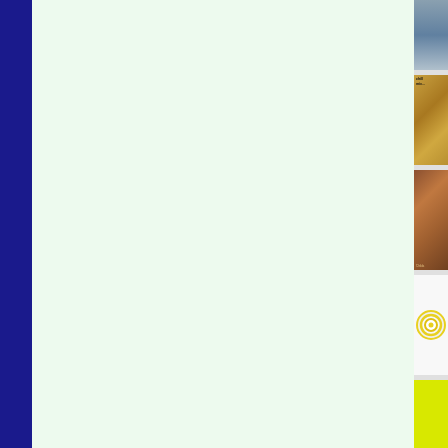[Figure (screenshot): Dark navy/blue vertical sidebar strip on the left edge of the page]
[Figure (screenshot): Large light mint-green main content area, mostly empty]
[Figure (photo): Partial thumbnail of a blue-grey sky/landscape photo at top right]
[Figure (photo): Partial thumbnail of a golden-brown aged paper or parchment album cover with small text]
[Figure (photo): Partial thumbnail of a reddish-brown earthy toned album cover with small text reading 'Childs' or similar]
[Figure (illustration): Partial thumbnail of a circular concentric ring design on white background, yellow/gold and white rings]
[Figure (photo): Partial thumbnail showing a bright yellow-green solid color background]
[Figure (photo): Partial thumbnail of a grey/blue landscape or seascape photo at bottom right]